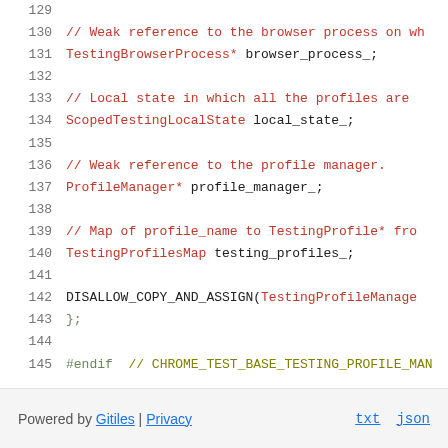Source code viewer showing lines 129-145 of a C++ header file. Line 130: // Weak reference to the browser process on wh... Line 131: TestingBrowserProcess* browser_process_; Line 133: // Local state in which all the profiles are ... Line 134: ScopedTestingLocalState local_state_; Line 136: // Weak reference to the profile manager. Line 137: ProfileManager* profile_manager_; Line 139: // Map of profile_name to TestingProfile* fro... Line 140: TestingProfilesMap testing_profiles_; Line 142: DISALLOW_COPY_AND_ASSIGN(TestingProfileManage... Line 143: }; Line 145: #endif  // CHROME_TEST_BASE_TESTING_PROFILE_MAN...
Powered by Gitiles | Privacy    txt  json